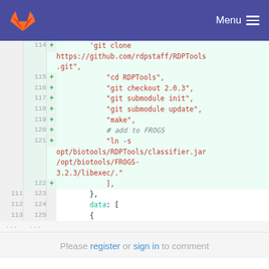GitLab navigation bar with Menu
[Figure (screenshot): GitLab code diff view showing lines 114-125 of a file, with added lines (green background) containing git clone, cd RDPTools, git checkout 2.0.3, git submodule init, git submodule update, make, # add to FROGS, ln -s commands, and normal lines showing }, data: [, {]
Please register or sign in to comment